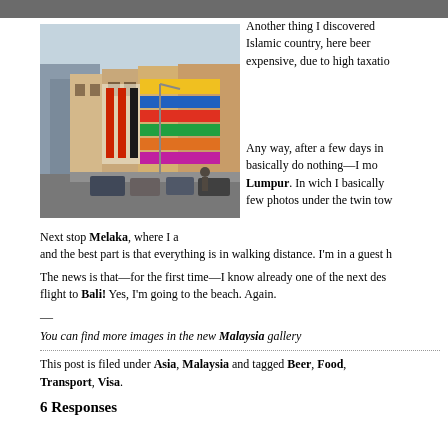[Figure (photo): Street scene in Malaysia showing shophouses with Chinese signage and parked cars along a busy commercial street]
Another thing I discovered Islamic country, here beer expensive, due to high taxatio
Any way, after a few days in basically do nothing—I mo Lumpur. In wich I basically few photos under the twin to
Next stop Melaka, where I a and the best part is that everything is in walking distance. I'm in a guest h
The news is that—for the first time—I know already one of the next des flight to Bali! Yes, I'm going to the beach. Again.
—
You can find more images in the new Malaysia gallery
This post is filed under Asia, Malaysia and tagged Beer, Food, Transport, Visa.
6 Responses